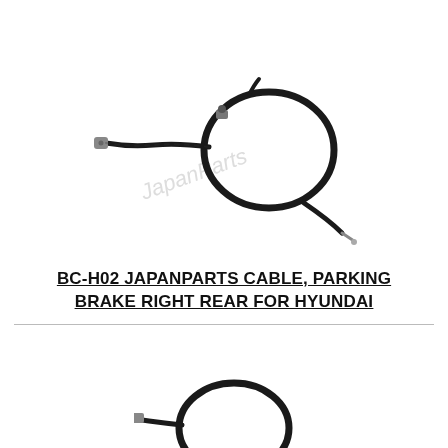[Figure (photo): Photo of a parking brake cable (BC-H02) - a black coiled cable with metal end fittings, shown against white background with a faint watermark]
BC-H02 JAPANPARTS CABLE, PARKING BRAKE RIGHT REAR FOR HYUNDAI
[Figure (photo): Partial photo of another parking brake cable, showing the top portion of a similar cable component]